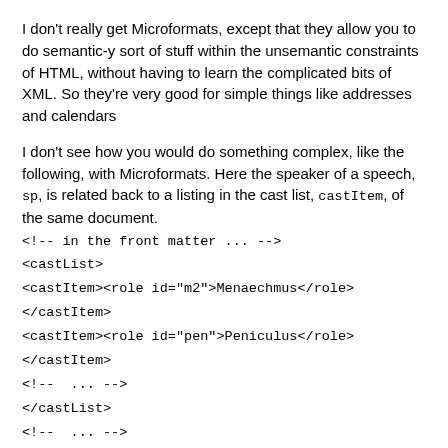I don't really get Microformats, except that they allow you to do semantic-y sort of stuff within the unsemantic constraints of HTML, without having to learn the complicated bits of XML. So they're very good for simple things like addresses and calendars
I don't see how you would do something complex, like the following, with Microformats. Here the speaker of a speech, sp, is related back to a listing in the cast list, castItem, of the same document.
<!-- in the front matter ... -->
<castList>
<castItem><role id="m2">Menaechmus</role>
</castItem>
<castItem><role id="pen">Peniculus</role>
</castItem>
<!-- ... -->
</castList>
<!-- ... -->
<!-- in the text ... -->
<sp who="m2" ><l>Responde, adulescens, quaeso, quid nomen tibist?</l></sp>
<sp who="pen"><l>Etiam derides, quasi nomen non noveris?</l>